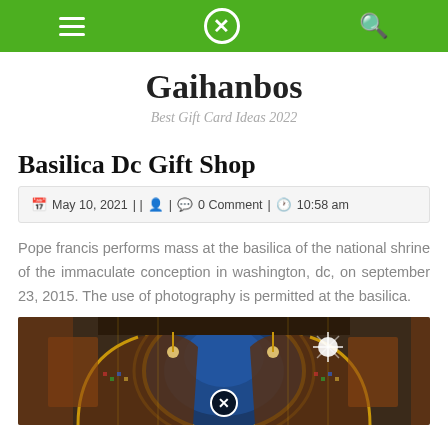Gaihanbos — navigation bar with hamburger menu, X close button, and search icon
Gaihanbos
Best Gift Card Ideas 2022
Basilica Dc Gift Shop
May 10, 2021 | | | 0 Comment | 10:58 am
Pope francis performs mass at the basilica of the national shrine of the immaculate conception in washington, dc, on september 23, 2015. The use of photography is permitted at the basilica.
[Figure (photo): Interior of the Basilica of the National Shrine of the Immaculate Conception showing ornate mosaic ceiling, dome, and arches with golden and blue decorations]